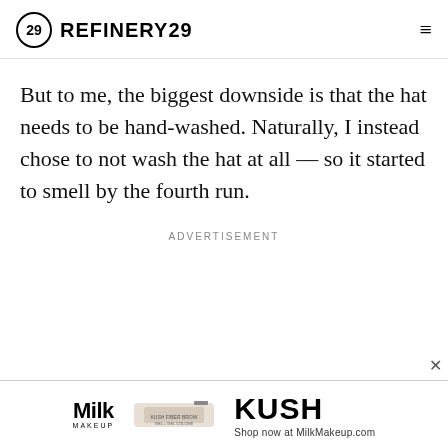REFINERY29
But to me, the biggest downside is that the hat needs to be hand-washed. Naturally, I instead chose to not wash the hat at all — so it started to smell by the fourth run.
ADVERTISEMENT
[Figure (other): Milk Makeup advertisement banner featuring a product image and KUSH brand text with 'Shop now at MilkMakeup.com']